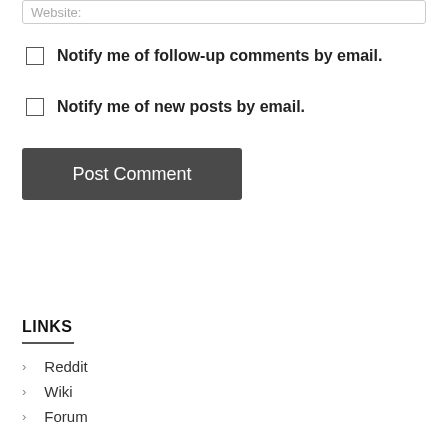Website:
Notify me of follow-up comments by email.
Notify me of new posts by email.
Post Comment
LINKS
Reddit
Wiki
Forum